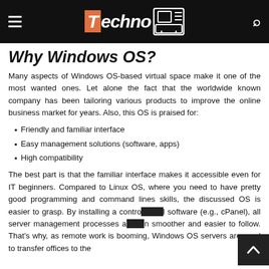Techno TV
Why Windows OS?
Many aspects of Windows OS-based virtual space make it one of the most wanted ones. Let alone the fact that the worldwide known company has been tailoring various products to improve the online business market for years. Also, this OS is praised for:
Friendly and familiar interface
Easy management solutions (software, apps)
High compatibility
The best part is that the familiar interface makes it accessible even for IT beginners. Compared to Linux OS, where you need to have pretty good programming and command lines skills, the discussed OS is easier to grasp. By installing a control panel software (e.g., cPanel), all server management processes are much smoother and easier to follow. That's why, as remote work is booming, Windows OS servers are used to transfer offices to the